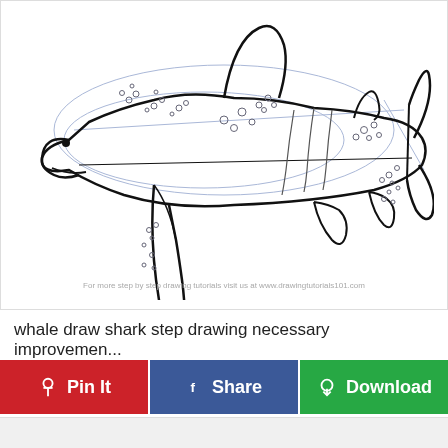[Figure (illustration): Step-by-step drawing tutorial of a whale shark shown from the side, with construction lines, bubbles, and body markings. Black outlines on white background with light blue guide lines. Watermark text reads: For more step by step drawing tutorials visit us at www.drawingtutorials101.com]
whale draw shark step drawing necessary improvemen...
Pin It
Share
Download